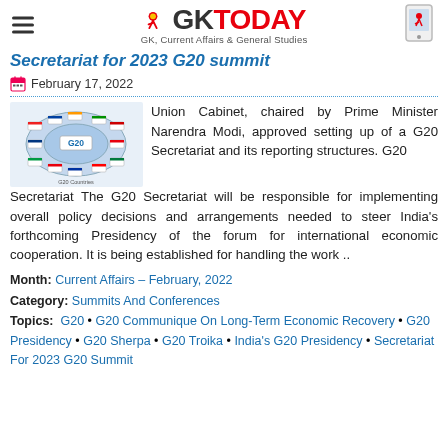GK Today – GK, Current Affairs & General Studies
Secretariat for 2023 G20 summit
February 17, 2022
Union Cabinet, chaired by Prime Minister Narendra Modi, approved setting up of a G20 Secretariat and its reporting structures. G20 Secretariat The G20 Secretariat will be responsible for implementing overall policy decisions and arrangements needed to steer India's forthcoming Presidency of the forum for international economic cooperation. It is being established for handling the work ..
Month: Current Affairs – February, 2022
Category: Summits And Conferences
Topics: G20 • G20 Communique On Long-Term Economic Recovery • G20 Presidency • G20 Sherpa • G20 Troika • India's G20 Presidency • Secretariat For 2023 G20 Summit